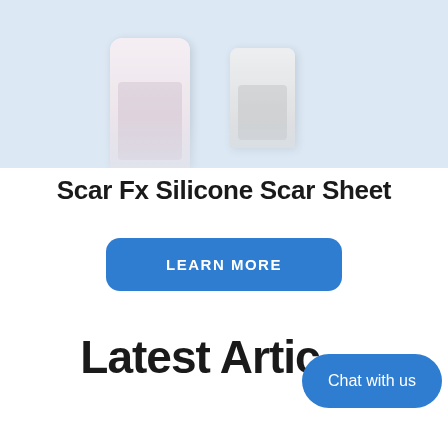[Figure (photo): Product image area showing scar sheet product mockups on light blue background, partially cropped at top]
Scar Fx Silicone Scar Sheet
LEARN MORE
Latest Articles
Chat with us